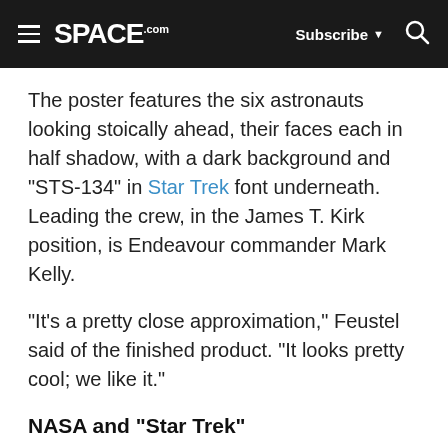SPACE.com | Subscribe | Search
The poster features the six astronauts looking stoically ahead, their faces each in half shadow, with a dark background and "STS-134" in Star Trek font underneath. Leading the crew, in the James T. Kirk position, is Endeavour commander Mark Kelly.
"It's a pretty close approximation," Feustel said of the finished product. "It looks pretty cool; we like it."
NASA and "Star Trek"
The poster is not the STS-134 crew's only connection to the famous science fiction TV and movie franchise.
In May 2005, mission specialist Mike Fincke appeared